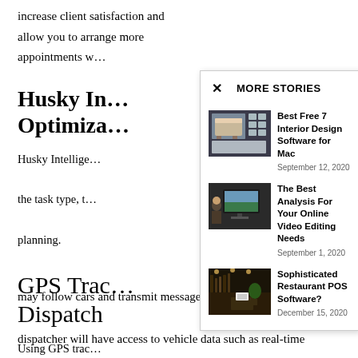increase client satisfaction and allow you to arrange more appointments w…
Husky In… Optimiza…
Husky Intellige… the task type, t… planning.
GPS Trac… Dispatch
Using GPS trac… may follow cars and transmit messages to drivers. The dispatcher will have access to vehicle data such as real-time
[Figure (screenshot): MORE STORIES modal overlay with close (X) button and three story items with thumbnails]
Best Free 7 Interior Design Software for Mac
September 12, 2020
The Best Analysis For Your Online Video Editing Needs
September 1, 2020
Sophisticated Restaurant POS Software?
December 15, 2020